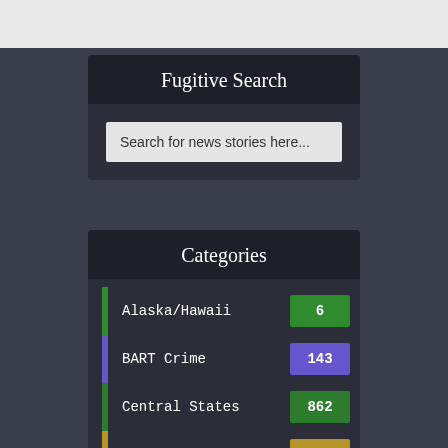Fugitive Search
Search for news stories here...
Categories
Alaska/Hawaii 6
BART Crime 143
Central States 862
Crime 348